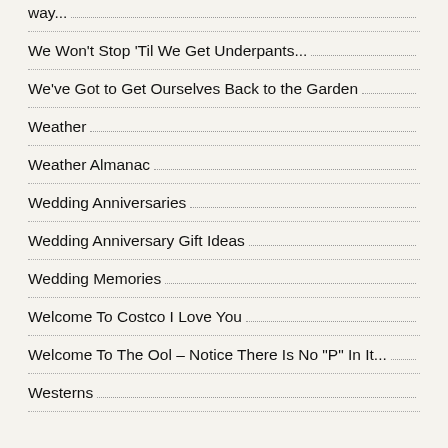way...
We Won't Stop 'Til We Get Underpants...
We've Got to Get Ourselves Back to the Garden
Weather
Weather Almanac
Wedding Anniversaries
Wedding Anniversary Gift Ideas
Wedding Memories
Welcome To Costco I Love You
Welcome To The Ool – Notice There Is No "P" In It...
Westerns